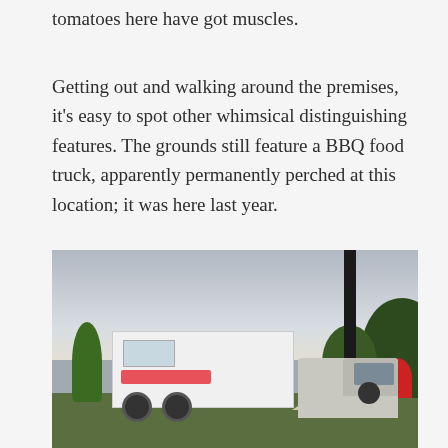tomatoes here have got muscles.
Getting out and walking around the premises, it's easy to spot other whimsical distinguishing features. The grounds still feature a BBQ food truck, apparently permanently perched at this location; it was here last year.
[Figure (photo): Outdoor scene showing a white BBQ food truck trailer parked on grass, with trees in the background, a tall totem pole or decorative structure on the right side, a pickup truck partially visible on the far right, a tent canopy and red umbrella in the middle background, and a cloudy sky overhead.]